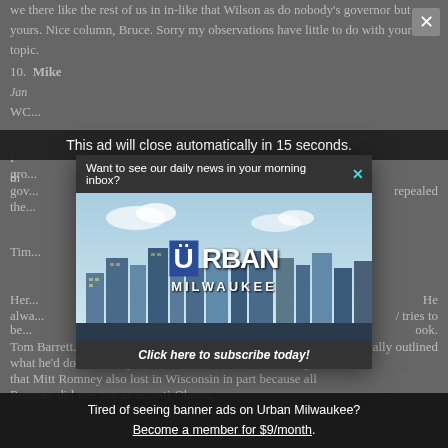we there like the rest of us in in-like that Wilson as do nobody's governor but yours. Nice column, Bruce. Sorry my observations have little to do with your topic.
10. Mike [name] January [date] WCO...
I th... onomic gro... gov... repealed the...
Tim...
Her... He alwa... tries to be... ook. Tom Barrett... really outlined what he'd do differently than Scott Walker. He made the point that Mitt Romney also lost in Wisconsin in part because all Romney did was run as an anti-Obama.
[Figure (screenshot): Ad overlay showing 'This ad will close automatically in 15 seconds.' banner at top, with Urban Milwaukee email subscription modal popup (city skyline photo with Urban Milwaukee logo, 'Click here to subscribe today!' CTA), and bottom banner reading 'Tired of seeing banner ads on Urban Milwaukee? Become a member for $9/month.']